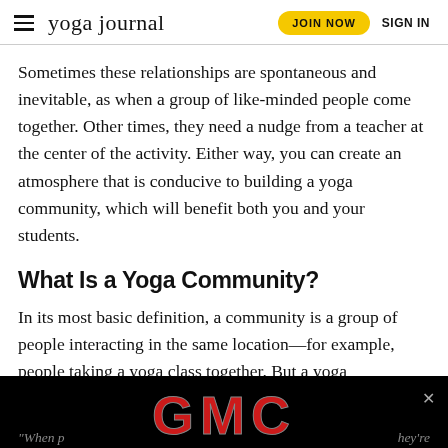yoga journal | JOIN NOW | SIGN IN
Sometimes these relationships are spontaneous and inevitable, as when a group of like-minded people come together. Other times, they need a nudge from a teacher at the center of the activity. Either way, you can create an atmosphere that is conducive to building a yoga community, which will benefit both you and your students.
What Is a Yoga Community?
In its most basic definition, a community is a group of people interacting in the same location—for example, people taking a yoga class together. But a yoga community quickly becomes much more than that.
[Figure (advertisement): GMC advertisement banner with large red GMC logo text on black background]
“When p... hey’re